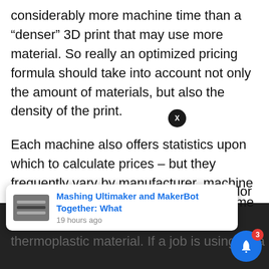considerably more machine time than a “denser” 3D print that may use more material. So really an optimized pricing formula should take into account not only the amount of materials, but also the density of the print.
Each machine also offers statistics upon which to calculate prices – but they frequently vary by manufacturer, machine and especially 3D printing process. Some processes involve multiple types of materials, full RGB color 3D printing as well as thermoplastic material. If a job is using up a
[Figure (screenshot): A mobile browser notification overlay showing a card for 'Mashing Ultimaker and MakerBot Together: What' posted 19 hours ago, a circular close button with X, a dark bottom bar, and a blue bell icon button with a red badge showing 3.]